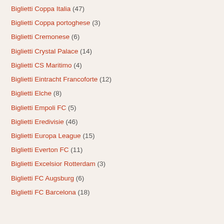Biglietti Coppa Italia (47)
Biglietti Coppa portoghese (3)
Biglietti Cremonese (6)
Biglietti Crystal Palace (14)
Biglietti CS Maritimo (4)
Biglietti Eintracht Francoforte (12)
Biglietti Elche (8)
Biglietti Empoli FC (5)
Biglietti Eredivisie (46)
Biglietti Europa League (15)
Biglietti Everton FC (11)
Biglietti Excelsior Rotterdam (3)
Biglietti FC Augsburg (6)
Biglietti FC Barcelona (18)